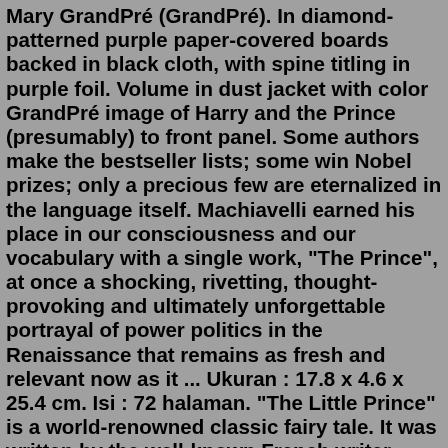Mary GrandPré (GrandPré). In diamond-patterned purple paper-covered boards backed in black cloth, with spine titling in purple foil. Volume in dust jacket with color GrandPré image of Harry and the Prince (presumably) to front panel. Some authors make the bestseller lists; some win Nobel prizes; only a precious few are eternalized in the language itself. Machiavelli earned his place in our consciousness and our vocabulary with a single work, "The Prince", at once a shocking, rivetting, thought-provoking and ultimately unforgettable portrayal of power politics in the Renaissance that remains as fresh and relevant now as it ... Ukuran : 17.8 x 4.6 x 25.4 cm. Isi : 72 halaman. "The Little Prince" is a world-renowned classic fairy tale. It was written by the well-known French writer Anthony Saint-Exupéry in 1943 and has been translated into many languages. It is one of the most popular books in the world, "The Little Prince". "Not only a children's book, but also a ... Mar 07, 2017 · It turns out that the prince has always wanted a double to deal with a particularly